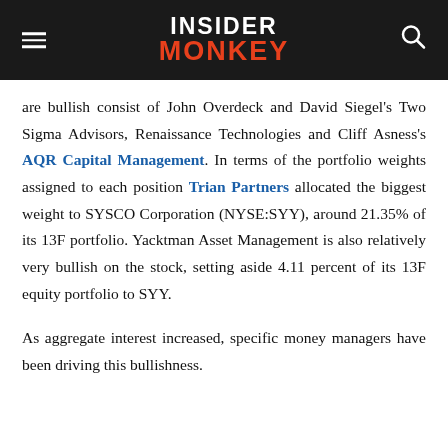INSIDER MONKEY
are bullish consist of John Overdeck and David Siegel's Two Sigma Advisors, Renaissance Technologies and Cliff Asness's AQR Capital Management. In terms of the portfolio weights assigned to each position Trian Partners allocated the biggest weight to SYSCO Corporation (NYSE:SYY), around 21.35% of its 13F portfolio. Yacktman Asset Management is also relatively very bullish on the stock, setting aside 4.11 percent of its 13F equity portfolio to SYY.
As aggregate interest increased, specific money managers have been driving this bullishness.